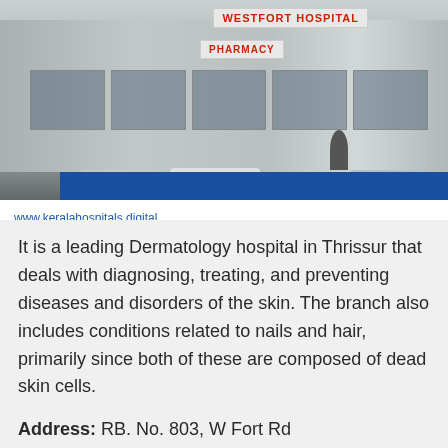[Figure (photo): Exterior photo of Westfort Hospital showing the building facade with WESTFORT HOSPITAL and PHARMACY signage in red text, cars in the foreground, and a blue decorative bar at the bottom. URL www.keralahospitals.digital shown below the image.]
It is a leading Dermatology hospital in Thrissur that deals with diagnosing, treating, and preventing diseases and disorders of the skin. The branch also includes conditions related to nails and hair, primarily since both of these are composed of dead skin cells.
Address: RB. No. 803, W Fort Rd
Thrissur, Kerala 680004